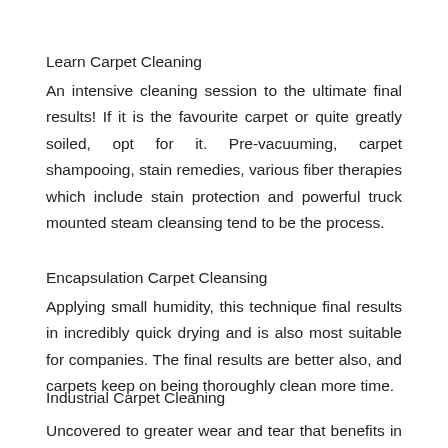Learn Carpet Cleaning
An intensive cleaning session to the ultimate final results! If it is the favourite carpet or quite greatly soiled, opt for it. Pre-vacuuming, carpet shampooing, stain remedies, various fiber therapies which include stain protection and powerful truck mounted steam cleansing tend to be the process.
Encapsulation Carpet Cleansing
Applying small humidity, this technique final results in incredibly quick drying and is also most suitable for companies. The final results are better also, and carpets keep on being thoroughly clean more time.
Industrial Carpet Cleaning
Uncovered to greater wear and tear that benefits in hefty